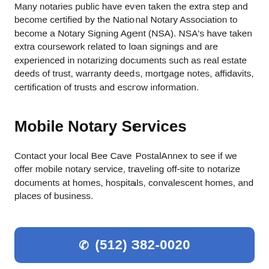Many notaries public have even taken the extra step and become certified by the National Notary Association to become a Notary Signing Agent (NSA). NSA's have taken extra coursework related to loan signings and are experienced in notarizing documents such as real estate deeds of trust, warranty deeds, mortgage notes, affidavits, certification of trusts and escrow information.
Mobile Notary Services
Contact your local Bee Cave PostalAnnex to see if we offer mobile notary service, traveling off-site to notarize documents at homes, hospitals, convalescent homes, and places of business.
(512) 382-0020